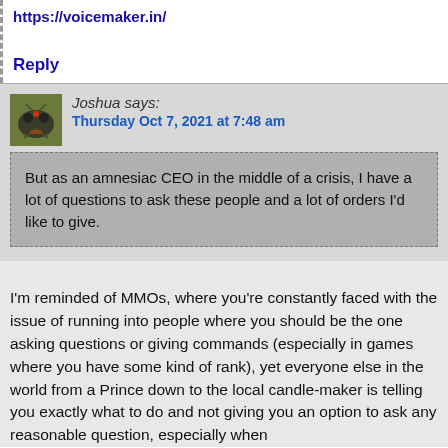https://voicemaker.in/
Reply
Joshua says:
Thursday Oct 7, 2021 at 7:48 am
But as an amnesiac CEO in the middle of a crisis, I have a lot of questions to ask these people and a lot of orders I'd like to give.
I'm reminded of MMOs, where you're constantly faced with the issue of running into people where you should be the one asking questions or giving commands (especially in games where you have some kind of rank), yet everyone else in the world from a Prince down to the local candle-maker is telling you exactly what to do and not giving you an option to ask any reasonable question, especially when